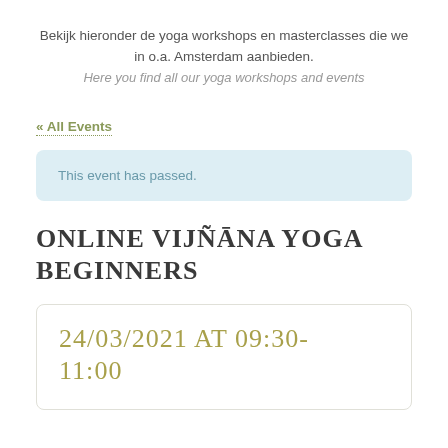Bekijk hieronder de yoga workshops en masterclasses die we in o.a. Amsterdam aanbieden.
Here you find all our yoga workshops and events
« All Events
This event has passed.
ONLINE VIJÑĀNA YOGA BEGINNERS
24/03/2021 AT 09:30-11:00